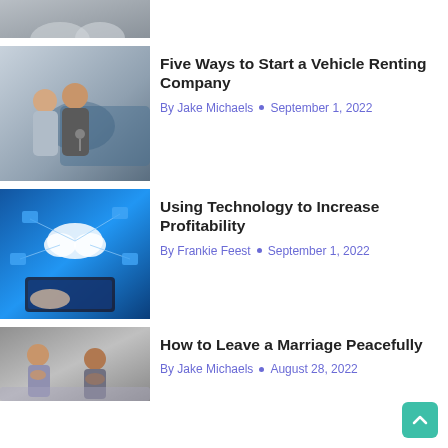[Figure (photo): Partial view of a photo at top of page, cropped]
[Figure (photo): Couple smiling at car dealership holding keys]
Five Ways to Start a Vehicle Renting Company
By Jake Michaels • September 1, 2022
[Figure (photo): Technology concept image with blue digital cloud network and hands on tablet]
Using Technology to Increase Profitability
By Frankie Feest • September 1, 2022
[Figure (photo): Couple in distress - woman and man sitting apart looking troubled]
How to Leave a Marriage Peacefully
By Jake Michaels • August 28, 2022